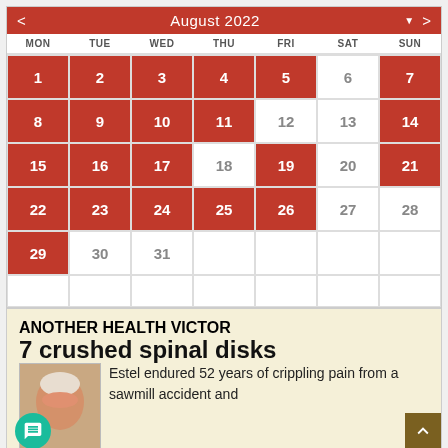[Figure (other): Interactive calendar widget showing August 2022. Red highlighted cells for Mon-Fri working days: 1,2,3,4,5,7,8,9,10,11,14,15,16,17,19,21,22,23,24,25,26,29. Grey cells for non-highlighted days: 6,12,13,18,20,27,28,30,31.]
ANOTHER HEALTH VICTOR
7 crushed spinal disks
Estel endured 52 years of crippling pain from a sawmill accident and